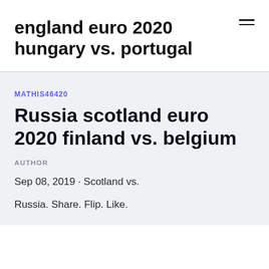england euro 2020 hungary vs. portugal
MATHIS46420
Russia scotland euro 2020 finland vs. belgium
AUTHOR
Sep 08, 2019 · Scotland vs.
Russia. Share. Flip. Like.